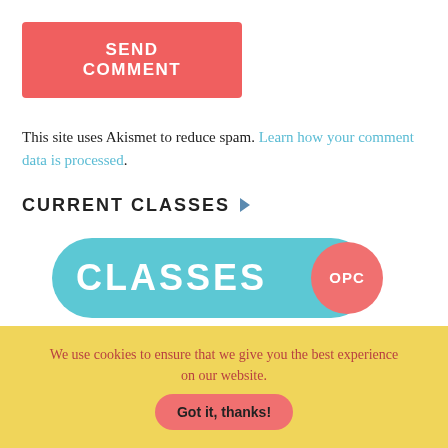SEND COMMENT
This site uses Akismet to reduce spam. Learn how your comment data is processed.
CURRENT CLASSES
[Figure (logo): Teal pill-shaped badge reading CLASSES with a coral/red circle badge reading OPC on the right side]
We use cookies to ensure that we give you the best experience on our website. Got it, thanks!